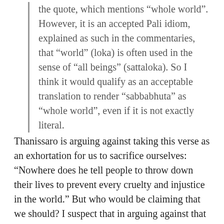the quote, which mentions “whole world”. However, it is an accepted Pali idiom, explained as such in the commentaries, that “world” (loka) is often used in the sense of “all beings” (sattaloka). So I think it would qualify as an acceptable translation to render “sabbabhuta” as “whole world”, even if it is not exactly literal.
Thanissaro is arguing against taking this verse as an exhortation for us to sacrifice ourselves: “Nowhere does he tell people to throw down their lives to prevent every cruelty and injustice in the world.” But who would be claiming that we should? I suspect that in arguing against that